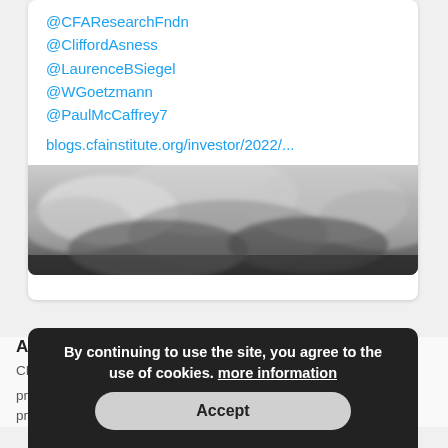@CFAResearchFndn
@CliffordAsness
@LaurenceBSiegel
@WGoetzmann
@PaulMcCaffrey7
blogs.cfainstitute.org/investor/2022/...
[Figure (photo): Black and white photo of dramatic storm clouds]
By continuing to use the site, you agree to the use of cookies. more information
Accept
About CF
CFA Institute is the global association of investment professionals that awards the CFA® and CIPM® designations. We promote the highest ethical standards and offer a range of